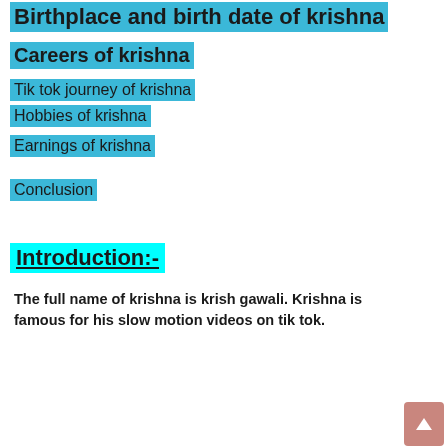Birthplace and birth date of krishna
Careers of krishna
Tik tok journey of krishna
Hobbies of krishna
Earnings of krishna
Conclusion
Introduction:-
The full name of krishna is krish gawali. Krishna is famous for his slow motion videos on tik tok.